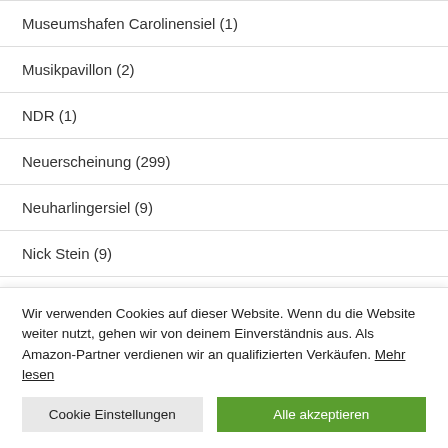Museumshafen Carolinensiel (1)
Musikpavillon (2)
NDR (1)
Neuerscheinung (299)
Neuharlingersiel (9)
Nick Stein (9)
Wir verwenden Cookies auf dieser Website. Wenn du die Website weiter nutzt, gehen wir von deinem Einverständnis aus. Als Amazon-Partner verdienen wir an qualifizierten Verkäufen. Mehr lesen
Cookie Einstellungen | Alle akzeptieren